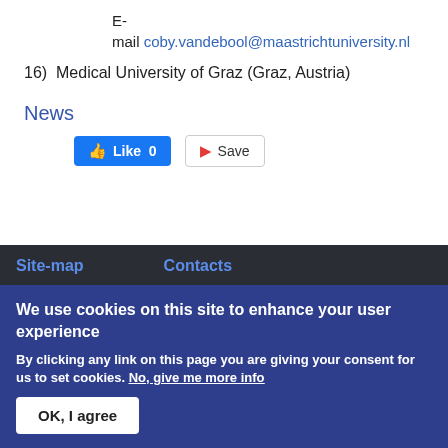E-mail coby.vandebool@maastrichtuniversity.nl
16)  Medical University of Graz (Graz, Austria)
News
[Figure (screenshot): Facebook Like button showing 0 likes and a Pocket Save button]
Site-map    Contacts
We use cookies on this site to enhance your user experience
By clicking any link on this page you are giving your consent for us to set cookies. No, give me more info
OK, I agree